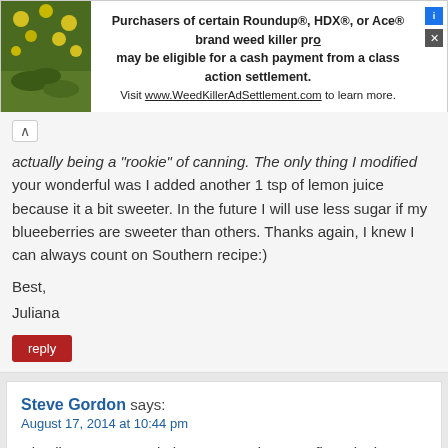[Figure (other): Advertisement banner: image of yellow flowers on left, text about Roundup/HDX/Ace brand weed killer class action settlement, with close/info icons]
...actually being a 'rookie' of canning. The only thing I modified your wonderful was I added another 1 tsp of lemon juice because it a bit sweeter. In the future I will use less sugar if my blueeberries are sweeter than others. Thanks again, I knew I can always count on Southern recipe:)
Best,
Juliana
reply
Steve Gordon says:
August 17, 2014 at 10:44 pm
Hi Juliana, Congratulations on canning your first Blueberry Jam. I'm thankful you tried our recipe and that it turned out well for you. Keep up the great work.
I appreciate your visit and your comments, and I do hope you'll visit with us again… real soon. Be Blessed!!! -Steve
reply